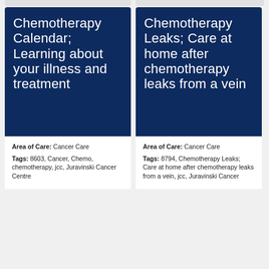[Figure (illustration): Dark navy blue card image for 'Chemotherapy Calendar; Learning about your illness and treatment']
Area of Care: Cancer Care
Tags: 8603, Cancer, Chemo, chemotherapy, jcc, Juravinski Cancer Centre
[Figure (illustration): Dark navy blue card image for 'Chemotherapy Leaks; Care at home after chemotherapy leaks from a vein']
Area of Care: Cancer Care
Tags: 8794, Chemotherapy Leaks; Care at home after chemotherapy leaks from a vein, jcc, Juravinski Cancer